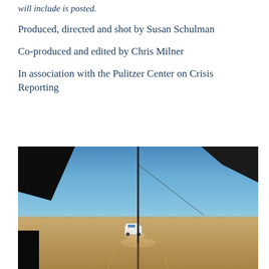will include is posted.
Produced, directed and shot by Susan Schulman
Co-produced and edited by Chris Milner
In association with the Pulitzer Center on Crisis Reporting
[Figure (photo): View from inside a vehicle looking out through the windshield at a dusty desert landscape under a clear blue sky. A white UN vehicle is visible in the distance on a dirt track, with a tall antenna or mast in the foreground.]